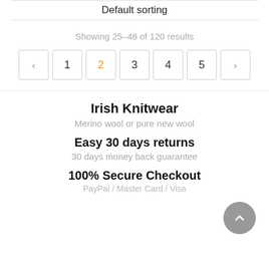Default sorting
Showing 25–48 of 120 results
« 1 2 3 4 5 »
Irish Knitwear
Merino wool or pure new wool
Easy 30 days returns
30 days money back guarantee
100% Secure Checkout
PayPal / Master Card / Visa